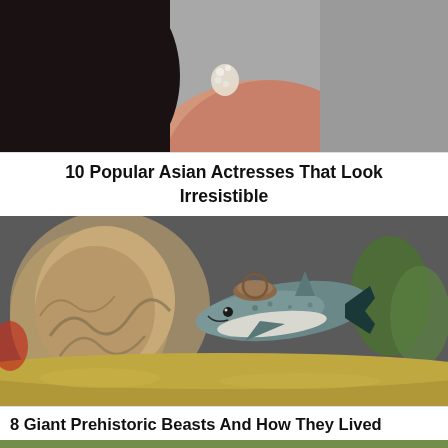[Figure (photo): Cropped photo of an Asian woman's face/neck area with dark hair and crystal earrings, light gray background]
10 Popular Asian Actresses That Look Irresistible
[Figure (photo): A toy/figurine of a prehistoric shark (Helicoprion or similar) with distinctive circular saw jaw, placed in a diorama scene with rock formations and sand]
8 Giant Prehistoric Beasts And How They Lived
[Figure (photo): Partial view of a nature scene with green plants and small furry/spiky creatures]